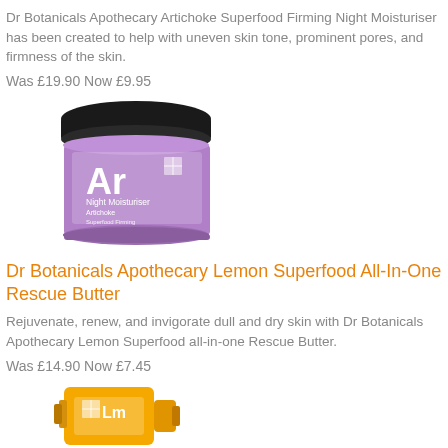Dr Botanicals Apothecary Artichoke Superfood Firming Night Moisturiser has been created to help with uneven skin tone, prominent pores, and firmness of the skin.
Was £19.90 Now £9.95
[Figure (photo): Purple jar of Dr Botanicals Apothecary Artichoke Superfood Firming Night Moisturiser with black lid, showing 'Ar Night Moisturiser Artichoke' label]
Dr Botanicals Apothecary Lemon Superfood All-In-One Rescue Butter
Rejuvenate, renew, and invigorate dull and dry skin with Dr Botanicals Apothecary Lemon Superfood all-in-one Rescue Butter.
Was £14.90 Now £7.45
[Figure (photo): Yellow tube of Dr Botanicals Apothecary Lemon Superfood All-In-One Rescue Butter showing 'Lm' label]